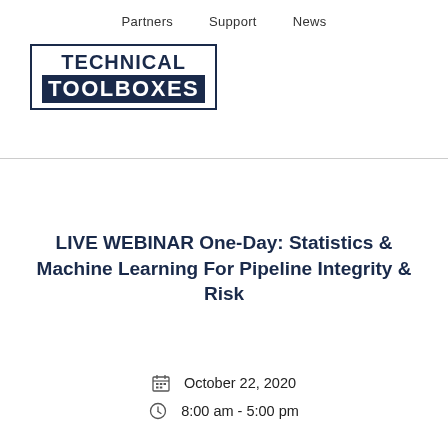Partners   Support   News
[Figure (logo): Technical Toolboxes logo — bold text in a bordered box, top line 'TECHNICAL' in navy outline text, bottom line 'TOOLBOXES' in white on navy background]
LIVE WEBINAR One-Day: Statistics & Machine Learning For Pipeline Integrity & Risk
October 22, 2020
8:00 am - 5:00 pm